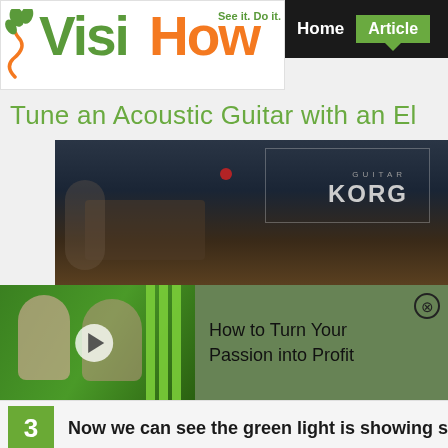VisiHow — See it. Do it.
Tune an Acoustic Guitar with an El…
[Figure (screenshot): Video thumbnail showing a KORG guitar tuner device display with dark background]
[Figure (screenshot): Advertisement overlay showing two people in aprons (florists) with play button and text: How to Turn Your Passion into Profit]
How to Turn Your Passion into Profit
3  Now we can see the green light is showing so the…